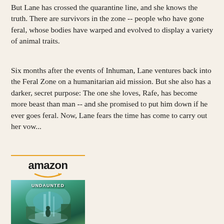But Lane has crossed the quarantine line, and she knows the truth. There are survivors in the zone -- people who have gone feral, whose bodies have warped and evolved to display a variety of animal traits.
Six months after the events of Inhuman, Lane ventures back into the Feral Zone on a humanitarian aid mission. But she also has a darker, secret purpose: The one she loves, Rafe, has become more beast than man -- and she promised to put him down if he ever goes feral. Now, Lane fears the time has come to carry out her vow...
[Figure (illustration): Amazon product listing showing a book cover for 'Undaunted (2) (Inhuman)' by Kat Falls, priced at $39.89. The Amazon logo with orange arrow is shown above the book cover image, which depicts a fantasy/sci-fi scene with teal and green tones.]
Undaunted (2) (Inhuman)
$39.89